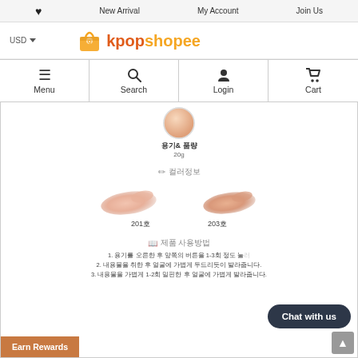♥  New Arrival  My Account  Join Us
[Figure (logo): kpopshopee logo with shopping bag icon, USD currency selector]
[Figure (infographic): Navigation bar with Menu, Search, Login, Cart icons]
[Figure (illustration): Product swatch circle in peach/beige color]
용기& 품량
20g
✏ 컬러정보
[Figure (illustration): Two cosmetic smear swatches: 201호 (lighter pink-peach) and 203호 (slightly darker peach)]
201호                   203호
📖 제품 사용방법
1. 용기를 오른한 후 앞쪽의 버튼을 1-3회 정도 눌러
2. 내용물을 취한 후 얼굴에 가볍게 두드리듯이 발라줍니다.
3. 내용물을 가볍게 1-2회 밀핀한 후 얼굴에 가볍게 발라줍니다.
Chat with us
Earn Rewards